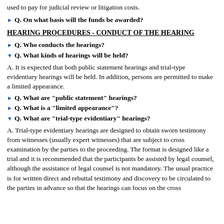used to pay for judicial review or litigation costs.
Q. On what basis will the funds be awarded?
HEARING PROCEDURES - CONDUCT OF THE HEARING
Q. Who conducts the hearings?
Q. What kinds of hearings will be held?
A. It is expected that both public statement hearings and trial-type evidentiary hearings will be held. In addition, persons are permitted to make a limited appearance.
Q. What are "public statement" hearings?
Q. What is a "limited appearance"?
Q. What are "trial-type evidentiary" hearings?
A. Trial-type evidentiary hearings are designed to obtain sworn testimony from witnesses (usually expert witnesses) that are subject to cross examination by the parties to the proceeding. The format is designed like a trial and it is recommended that the participants be assisted by legal counsel, although the assistance of legal counsel is not mandatory. The usual practice is for written direct and rebuttal testimony and discovery to be circulated to the parties in advance so that the hearings can focus on the cross